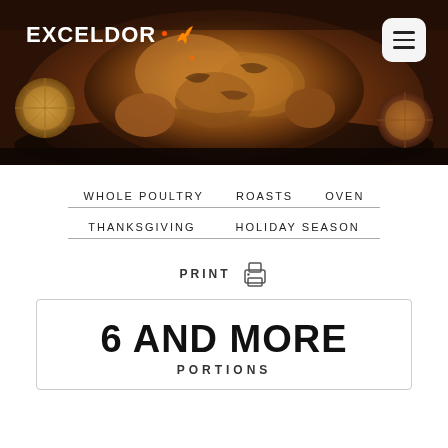[Figure (photo): Hero image of a roasted whole poultry/chicken in a dark pan with sliced citrus, dark background, warm brown tones. Exceldor logo and hamburger menu button overlaid.]
WHOLE POULTRY
ROASTS
OVEN
THANKSGIVING
HOLIDAY SEASON
PRINT
6 AND MORE
PORTIONS